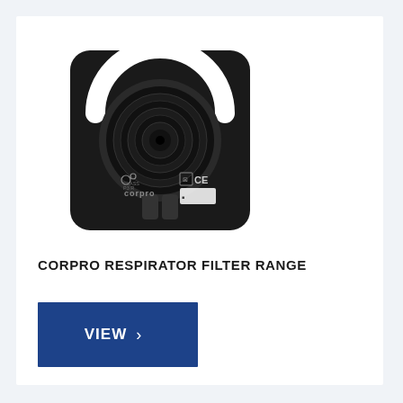[Figure (photo): Corpro respirator filter — a black rectangular device with rounded corners, featuring a circular concentric-ring filter element in the center, a white arc surround at the top, CE marking, and 'corpro' branding text at the bottom.]
CORPRO RESPIRATOR FILTER RANGE
VIEW ›